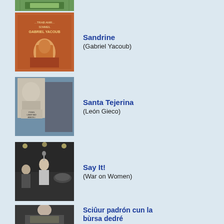[Figure (photo): Partial album cover visible at top of page, green/pixel art style]
[Figure (photo): Orange/brown album cover with text 'Trab Amr... Gabriel Yacoub' and figure image]
Sandrine
(Gabriel Yacoub)
[Figure (photo): Black and white protest photo with banner reading 'Libertad Araceli Tejerina']
Santa Tejerina
(León Gieco)
[Figure (photo): Black and white photo of a band performing live, woman singing at microphone]
Say It!
(War on Women)
[Figure (photo): Black and white photo of person at table with objects]
Sciûur padrón cun la bùrsa dedré
(anonimo)